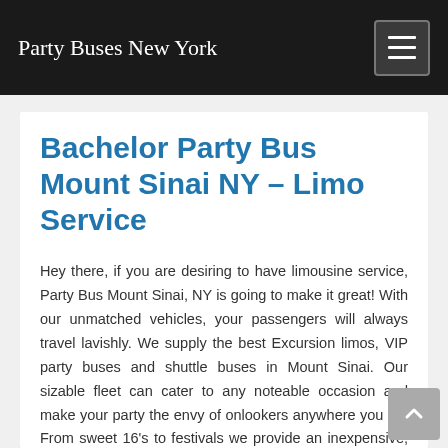Party Buses New York
Bachelor Party Bus Mount Sinai NY – Limo Service
Hey there, if you are desiring to have limousine service, Party Bus Mount Sinai, NY is going to make it great! With our unmatched vehicles, your passengers will always travel lavishly. We supply the best Excursion limos, VIP party buses and shuttle buses in Mount Sinai. Our sizable fleet can cater to any noteable occasion and make your party the envy of onlookers anywhere you go! From sweet 16's to festivals we provide an inexpensive, yet extravagant experience for every celebration. Are you needing transportation to a cruise